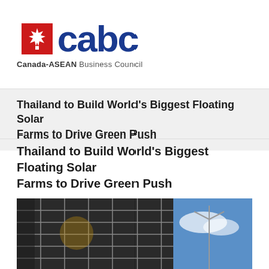[Figure (logo): CABC (Canada-ASEAN Business Council) logo with red maple leaf box and dark blue 'cabc' text, subtitle 'Canada-ASEAN Business Council']
Thailand to Build World’s Biggest Floating Solar Farms to Drive Green Push
Thailand to Build World’s Biggest Floating Solar Farms to Drive Green Push
[Figure (photo): Close-up photograph of solar panels from below showing grid pattern with blue sky and wind turbine visible in the background]